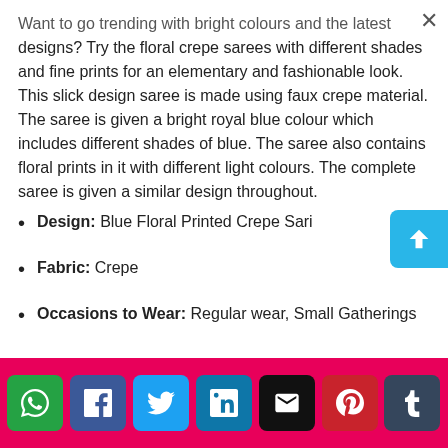Want to go trending with bright colours and the latest designs? Try the floral crepe sarees with different shades and fine prints for an elementary and fashionable look. This slick design saree is made using faux crepe material. The saree is given a bright royal blue colour which includes different shades of blue. The saree also contains floral prints in it with different light colours. The complete saree is given a similar design throughout.
Design: Blue Floral Printed Crepe Sari
Fabric: Crepe
Occasions to Wear: Regular wear, Small Gatherings